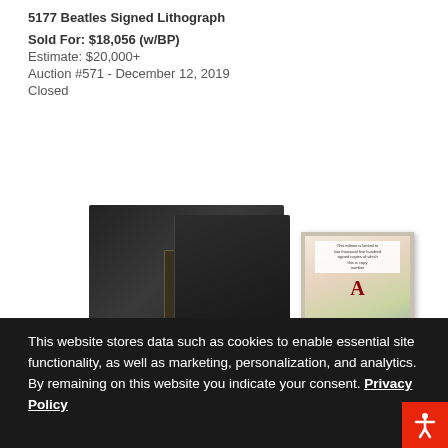5177 Beatles Signed Lithograph
Sold For: $18,056 (w/BP)
Estimate: $20,000+
Auction #571 - December 12, 2019
Closed
[Figure (photo): A black slipcase book set with a gold label plate on the spine/cover area, alongside a smaller framed colorful illustrated print with white text overlay and a decorative letter]
This website stores data such as cookies to enable essential site functionality, as well as marketing, personalization, and analytics. By remaining on this website you indicate your consent. Privacy Policy